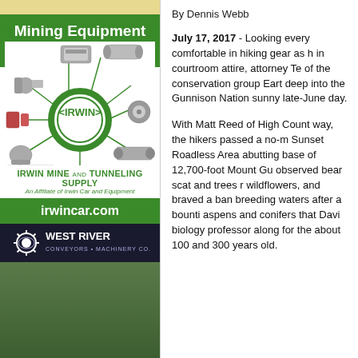[Figure (advertisement): Irwin Mine and Tunneling Supply advertisement showing Mining Equipment Solutions with green header, circular IRWIN logo surrounded by mining equipment images, company name, irwincar.com URL, and West River Conveyors & Machinery Co. logo at bottom]
By Dennis Webb
July 17, 2017 - Looking every comfortable in hiking gear as h in courtroom attire, attorney Te of the conservation group Eart deep into the Gunnison Nation sunny late-June day.
With Matt Reed of High Count way, the hikers passed a no-m Sunset Roadless Area abutting base of 12,700-foot Mount Gu observed bear scat and trees r wildflowers, and braved a ban breeding waters after a bounti aspens and conifers that Davi biology professor along for the about 100 and 300 years old.